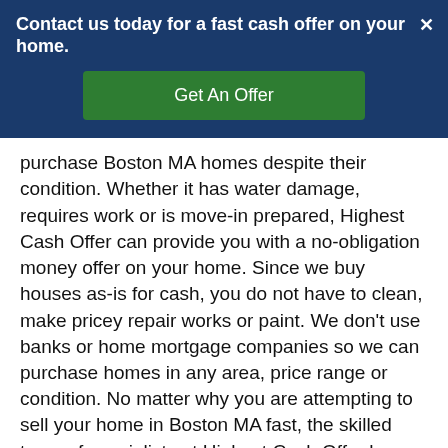Contact us today for a fast cash offer on your home.  ×
[Figure (other): Green 'Get An Offer' call-to-action button on dark blue background]
purchase Boston MA homes despite their condition. Whether it has water damage, requires work or is move-in prepared, Highest Cash Offer can provide you with a no-obligation money offer on your home. Since we buy houses as-is for cash, you do not have to clean, make pricey repair works or paint. We don't use banks or home mortgage companies so we can purchase homes in any area, price range or condition. No matter why you are attempting to sell your home in Boston MA fast, the skilled team of specialists at Highest Cash Offer has the understanding, experience and money on hand to solve your financial housing problems. If you accept the no obligation cash offer, we'll set up a closing in just seven days so you get your cash